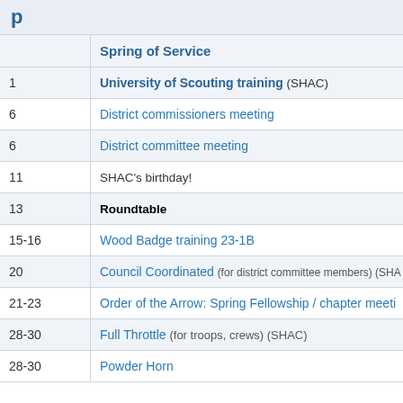p
|  | Spring of Service |
| --- | --- |
| 1 | University of Scouting training (SHAC) |
| 6 | District commissioners meeting |
| 6 | District committee meeting |
| 11 | SHAC's birthday! |
| 13 | Roundtable |
| 15-16 | Wood Badge training 23-1B |
| 20 | Council Coordinated (for district committee members) (SHA...) |
| 21-23 | Order of the Arrow: Spring Fellowship / chapter meeti... |
| 28-30 | Full Throttle (for troops, crews) (SHAC) |
| 28-30 | Powder Horn |